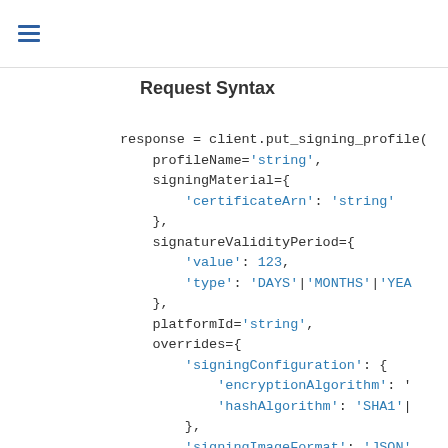☰
Request Syntax
response = client.put_signing_profile(
    profileName='string',
    signingMaterial={
        'certificateArn': 'string'
    },
    signatureValidityPeriod={
        'value': 123,
        'type': 'DAYS'|'MONTHS'|'YEARS'
    },
    platformId='string',
    overrides={
        'signingConfiguration': {
            'encryptionAlgorithm': '...',
            'hashAlgorithm': 'SHA1'|...
        },
        'signingImageFormat': 'JSON'...
    },
    signingParameters={
        'string': 'string'
    },
)